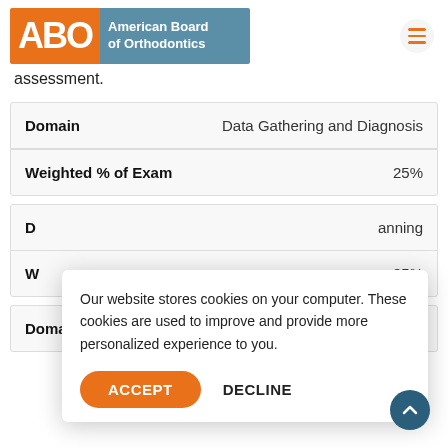[Figure (logo): American Board of Orthodontics logo with orange ABO letters on left and blue panel with text on right]
assessment.
| Domain | Data Gathering and Diagnosis |
| --- | --- |
| Weighted % of Exam | 25% |
| D[omain] | [Treatment Pl]anning |
| --- | --- |
| W[eighted % of Exam] | 25% |
| Domain | Treatment Implementation and Management |
| --- | --- |
Our website stores cookies on your computer. These cookies are used to improve and provide more personalized experience to you.
ACCEPT   DECLINE